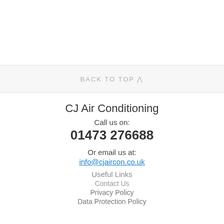BACK TO TOP ^
CJ Air Conditioning
Call us on:
01473 276688
Or email us at:
info@cjaircon.co.uk
Useful Links
Contact Us
Privacy Policy
Data Protection Policy
This website uses cookies to ensure you get the best experience on our website. Learn more
Dismiss